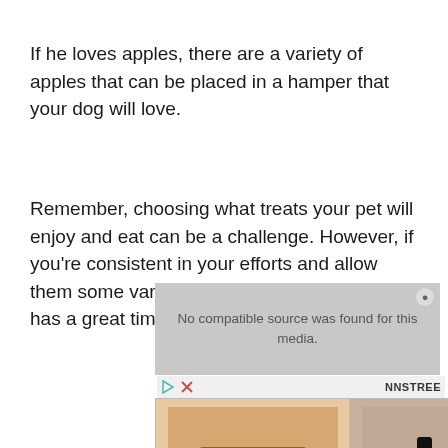If he loves apples, there are a variety of apples that can be placed in a hamper that your dog will love.
Remember, choosing what treats your pet will enjoy and eat can be a challenge. However, if you're consistent in your efforts and allow them some variety, you'll find that your dog has a great time at Easter.
[Figure (screenshot): Advertisement area showing a video player with 'No compatible source was found for this media.' message overlaid on it, with a close button (x), and below it a row of three shoe product images (orange platform shoes, black sandals, beige wedge sandals) and a NNSTREE brand logo with play and close icons.]